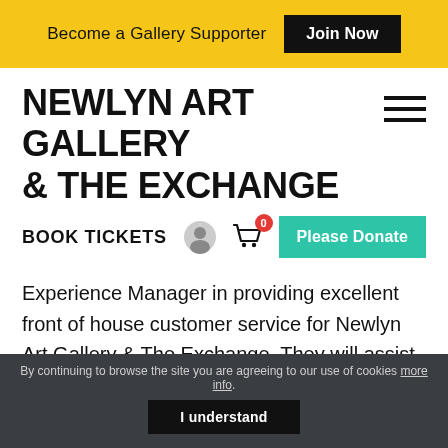Become a Gallery Supporter | Join Now
NEWLYN ART GALLERY & THE EXCHANGE
BOOK TICKETS
Please Donate
Experience Manager in providing excellent  front of house customer service for Newlyn Art Gallery & The Exchange. They will assist the Visitor Experience Manager and work with the Café Manager in co-ordinating the staff and volunteers in customer-facing
By continuing to browse the site you are agreeing to our use of cookies more info.
I understand